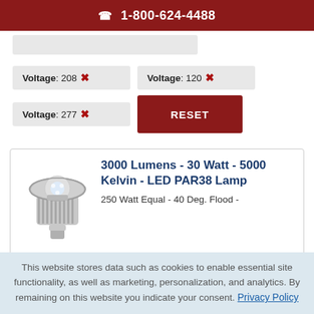☎ 1-800-624-4488
Voltage : 208 ✕
Voltage : 120 ✕
Voltage : 277 ✕
3000 Lumens - 30 Watt - 5000 Kelvin - LED PAR38 Lamp
250 Watt Equal - 40 Deg. Flood -
This website stores data such as cookies to enable essential site functionality, as well as marketing, personalization, and analytics. By remaining on this website you indicate your consent. Privacy Policy